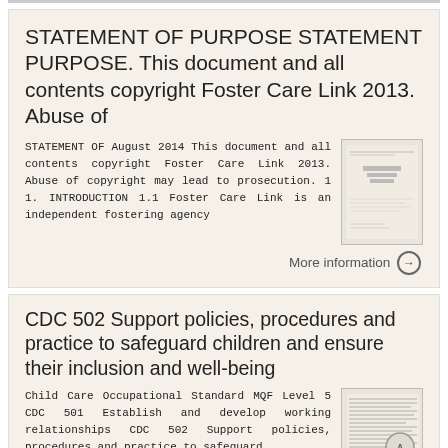STATEMENT OF PURPOSE STATEMENT PURPOSE. This document and all contents copyright Foster Care Link 2013. Abuse of
STATEMENT OF August 2014 This document and all contents copyright Foster Care Link 2013. Abuse of copyright may lead to prosecution. 1 1. INTRODUCTION 1.1 Foster Care Link is an independent fostering agency
[Figure (other): Thumbnail image of a document page titled STATEMENT OF PURPOSE]
More information →
CDC 502 Support policies, procedures and practice to safeguard children and ensure their inclusion and well-being
Child Care Occupational Standard MQF Level 5 CDC 501 Establish and develop working relationships CDC 502 Support policies, procedures and practice to safeguard
[Figure (other): Thumbnail image of a document page with dense text content and a scroll-to-top button]